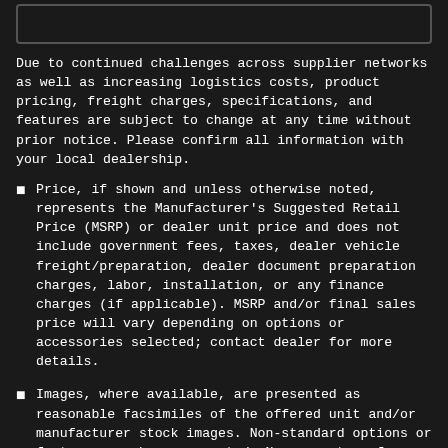[Figure (other): Empty rounded rectangle box at top of page]
Due to continued challenges across supplier networks as well as increasing logistics costs, product pricing, freight charges, specifications, and features are subject to change at any time without prior notice. Please confirm all information with your local dealership.
Price, if shown and unless otherwise noted, represents the Manufacturer's Suggested Retail Price (MSRP) or dealer unit price and does not include government fees, taxes, dealer vehicle freight/preparation, dealer document preparation charges, labor, installation, or any finance charges (if applicable). MSRP and/or final sales price will vary depending on options or accessories selected; contact dealer for more details.
Images, where available, are presented as reasonable facsimiles of the offered unit and/or manufacturer stock images. Non-standard options or features may be represented. No guarantee of availability or inclusion of displayed options should be inferred; contact dealer for more